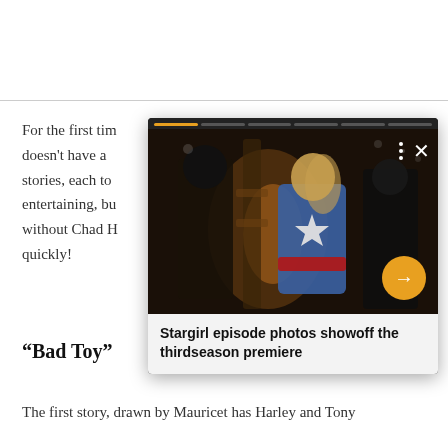For the first time... doesn't have a ... stories, each to... entertaining, bu... without Chad H... quickly!
[Figure (screenshot): An overlaid media card showing a photo from the Stargirl TV show — a woman in a blue superhero costume with a star on the chest and a red belt, standing in a dark scene. The card has a progress bar at the top, three-dot menu icon and X close icon in the upper right, a yellow circular arrow button on the right side, and a caption below the photo reading 'Stargirl episode photos showoff the thirdseason premiere'.]
Stargirl episode photos showoff the thirdseason premiere
“Bad Toy”
The first story, drawn by Mauricet has Harley and Tony